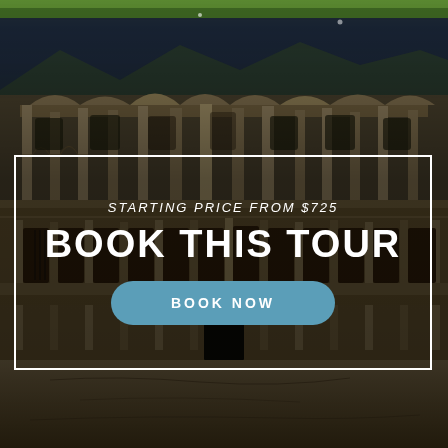[Figure (photo): Aerial/front view of ancient Roman/Greek ruins with columns and arched facades, set against a dark sky with mountains in background. Green grass visible at top. Stone amphitheater structure in lower half.]
STARTING PRICE FROM $725
BOOK THIS TOUR
BOOK NOW